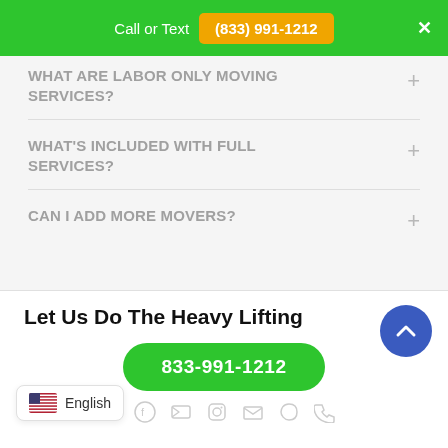Call or Text (833) 991-1212
WHAT ARE LABOR ONLY MOVING SERVICES?
wHAT'S INCLUDED WITH fULL sERVICES?
cAN i ADD MORE MOVERS?
Let Us Do The Heavy Lifting
833-991-1212
English